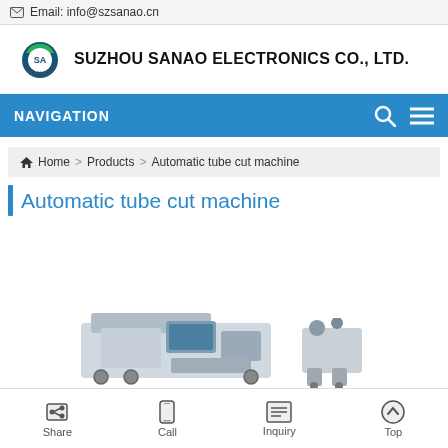Email: info@szsanao.cn
[Figure (logo): Suzhou Sanao Electronics Co., Ltd. logo — circular green/blue emblem with 'SA' letters and 'SANAO' text below]
SUZHOU SANAO ELECTRONICS CO., LTD.
NAVIGATION
Home > Products > Automatic tube cut machine
Automatic tube cut machine
[Figure (photo): Partial view of automatic tube cut machine product photo]
Share   Call   Inquiry   Top